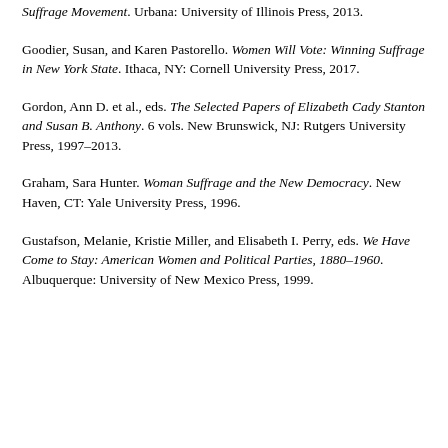Suffrage Movement. Urbana: University of Illinois Press, 2013.
Goodier, Susan, and Karen Pastorello. Women Will Vote: Winning Suffrage in New York State. Ithaca, NY: Cornell University Press, 2017.
Gordon, Ann D. et al., eds. The Selected Papers of Elizabeth Cady Stanton and Susan B. Anthony. 6 vols. New Brunswick, NJ: Rutgers University Press, 1997–2013.
Graham, Sara Hunter. Woman Suffrage and the New Democracy. New Haven, CT: Yale University Press, 1996.
Gustafson, Melanie, Kristie Miller, and Elisabeth I. Perry, eds. We Have Come to Stay: American Women and Political Parties, 1880–1960. Albuquerque: University of New Mexico Press, 1999.